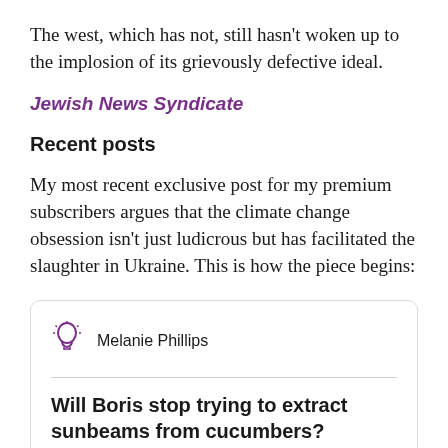The west, which has not, still hasn’t woken up to the implosion of its grievously defective ideal.
Jewish News Syndicate
Recent posts
My most recent exclusive post for my premium subscribers argues that the climate change obsession isn't just ludicrous but has facilitated the slaughter in Ukraine. This is how the piece begins:
[Figure (other): Card widget showing author Melanie Phillips with a lightbulb icon and article title: Will Boris stop trying to extract sunbeams from cucumbers?]